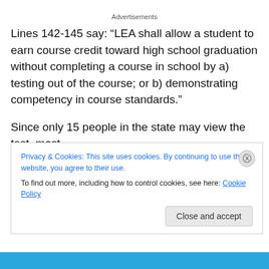Advertisements
Lines 142-145 say: “LEA shall allow a student to earn course credit toward high school graduation without completing a course in school by a) testing out of the course; or b) demonstrating competency in course standards.”
Since only 15 people in the state may view the test, most
Privacy & Cookies: This site uses cookies. By continuing to use this website, you agree to their use.
To find out more, including how to control cookies, see here: Cookie Policy